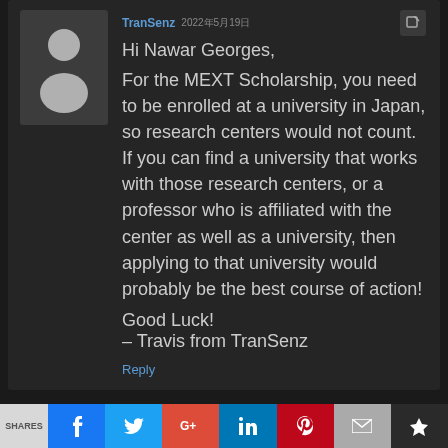[Figure (illustration): Gray avatar placeholder image of a person silhouette]
TranSenz 2022年5月19日
Hi Nawar Georges,

For the MEXT Scholarship, you need to be enrolled at a university in Japan, so research centers would not count. If you can find a university that works with those research centers, or a professor who is affiliated with the center as well as a university, then applying to that university would probably be the best course of action!

Good Luck!
– Travis from TranSenz
Reply
Sahar Hassani 2022年5月16日
Shares | Facebook | Twitter | Google+ | LinkedIn | Pinterest | Email | Klout